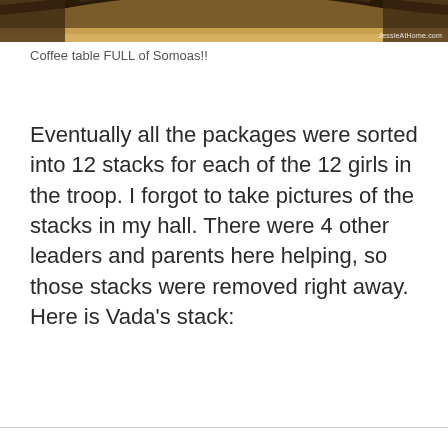[Figure (photo): Photo of a coffee table full of Samoa cookie boxes, with a wooden floor background and JessieAtHome.com watermark]
Coffee table FULL of Somoas!!
Eventually all the packages were sorted into 12 stacks for each of the 12 girls in the troop. I forgot to take pictures of the stacks in my hall. There were 4 other leaders and parents here helping, so those stacks were removed right away. Here is Vada’s stack: